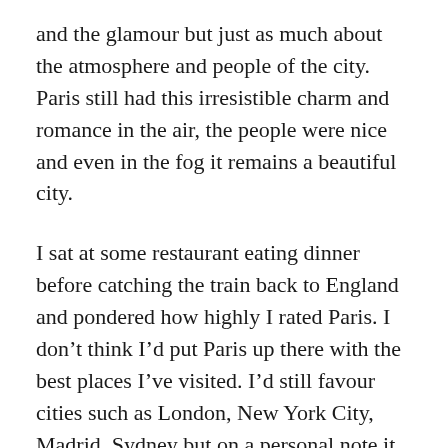and the glamour but just as much about the atmosphere and people of the city. Paris still had this irresistible charm and romance in the air, the people were nice and even in the fog it remains a beautiful city.
I sat at some restaurant eating dinner before catching the train back to England and pondered how highly I rated Paris. I don't think I'd put Paris up there with the best places I've visited. I'd still favour cities such as London, New York City, Madrid, Sydney but on a personal note it was exactly the trip I needed at that moment in my life. It was a good lesson that sometimes things don't work out how you thought they would but it's still going to be alright.
Anyway, that wraps up this trip. Have you ever been to Paris? Give me some recommendations on what